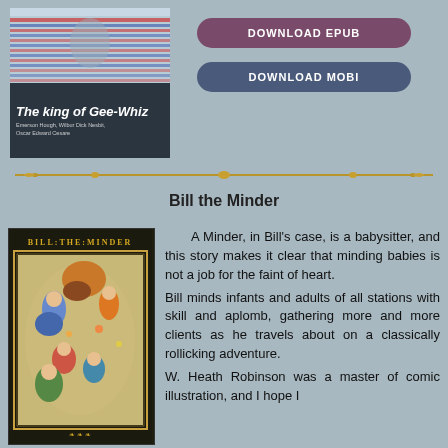[Figure (illustration): Book cover of 'The King of Gee-Whiz' showing striped pattern at top and dark band at bottom with title text. Authors: Emerson Hough, Wilbur Dick Nesbit, Oscar Edward Cesare.]
[Figure (other): Purple rounded rectangle button labeled DOWNLOAD EPUB]
[Figure (other): Blue-grey rounded rectangle button labeled DOWNLOAD MOBI]
[Figure (illustration): Decorative gold horizontal divider bar with ornamental details]
Bill the Minder
[Figure (illustration): Book cover of 'Bill the Minder' showing dark background with gold title text 'BILL:THE:MINDER' and colorful illustration of children and figures swirling/playing with flowers and costumes. Gold decorative border.]
A Minder, in Bill's case, is a babysitter, and this story makes it clear that minding babies is not a job for the faint of heart.
Bill minds infants and adults of all stations with skill and aplomb, gathering more and more clients as he travels about on a classically rollicking adventure.
W. Heath Robinson was a master of comic illustration, and I hope I